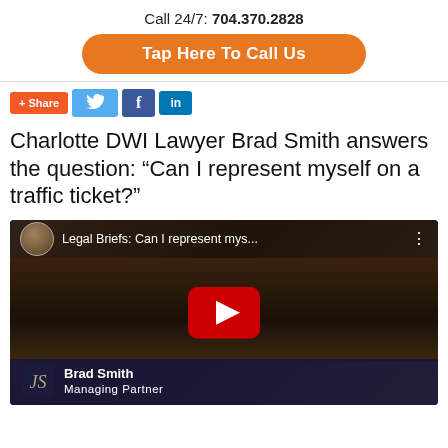Call 24/7: 704.370.2828
Tap Here To Call Us
[Figure (infographic): Social share buttons: + Share, Twitter, Facebook, LinkedIn]
Charlotte DWI Lawyer Brad Smith answers the question: “Can I represent myself on a traffic ticket?”
[Figure (screenshot): YouTube video thumbnail for 'Legal Briefs: Can I represent mys...' featuring Brad Smith, Managing Partner]